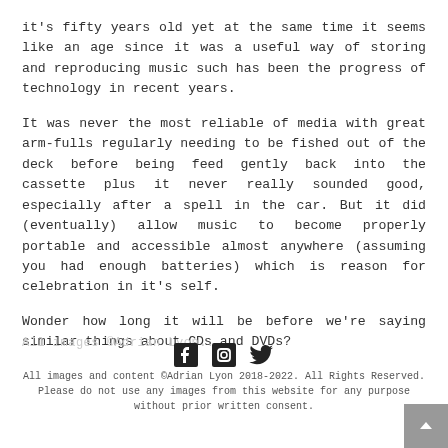it's fifty years old yet at the same time it seems like an age since it was a useful way of storing and reproducing music such has been the progress of technology in recent years.
It was never the most reliable of media with great arm-fulls regularly needing to be fished out of the deck before being feed gently back into the cassette plus it never really sounded good, especially after a spell in the car. But it did (eventually) allow music to become properly portable and accessible almost anywhere (assuming you had enough batteries) which is reason for celebration in it's self.
Wonder how long it will be before we're saying similar things about CDs and DVDs?
[Figure (infographic): Social media icons: Facebook, Instagram, Twitter]
All images and content ©Adrian Lyon 2018-2022. All Rights Reserved. Please do not use any images from this website for any purpose without prior written consent.